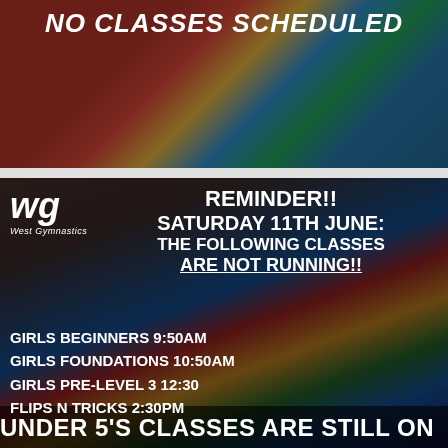NO CLASSES SCHEDULED
[Figure (photo): Colorful gymnastics gym equipment — red, yellow, blue, green foam mats and tunnel]
REMINDER!! SATURDAY 11TH JUNE: THE FOLLOWING CLASSES ARE NOT RUNNING!!
GIRLS BEGINNERS 9:50AM
GIRLS FOUNDATIONS 10:50AM
GIRLS PRE-LEVEL 3 12:30
FLIPS N TRICKS 2:30PM
UNDER 5'S CLASSES ARE STILL ON